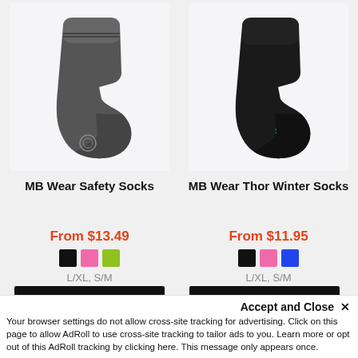[Figure (photo): Photo of MB Wear Safety Socks — a dark grey athletic sock shown on a white/light background]
MB Wear Safety Socks
From $13.49
Color swatches: black, pink, lime green
L/XL, S/M
[Figure (photo): Photo of MB Wear Thor Winter Socks — a black athletic sock with teal accent, shown on a white/light background]
MB Wear Thor Winter Socks
From $11.95
Color swatches: black, pink, blue
L/XL, S/M
Accept and Close ✕
Your browser settings do not allow cross-site tracking for advertising. Click on this page to allow AdRoll to use cross-site tracking to tailor ads to you. Learn more or opt out of this AdRoll tracking by clicking here. This message only appears once.